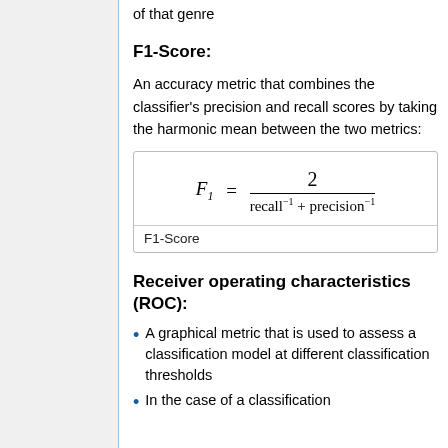of that genre
F1-Score:
An accuracy metric that combines the classifier's precision and recall scores by taking the harmonic mean between the two metrics:
F1-Score
Receiver operating characteristics (ROC):
A graphical metric that is used to assess a classification model at different classification thresholds
In the case of a classification